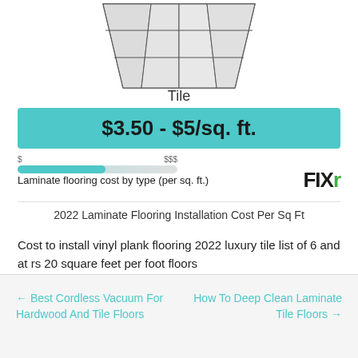[Figure (illustration): Tile flooring pattern shown in perspective/isometric view — rectangular tiles arranged in a grid on a trapezoidal surface]
Tile
$3.50 - $5/sq. ft.
[Figure (infographic): Cost scale bar from $ to $$$ with teal fill indicating mid-low range]
Laminate flooring cost by type (per sq. ft.)
[Figure (logo): FIXR logo in bold black text with green R]
2022 Laminate Flooring Installation Cost Per Sq Ft
Cost to install vinyl plank flooring 2022 luxury tile list of 6 and at rs 20 square feet per foot floors
← Best Cordless Vacuum For Hardwood And Tile Floors
How To Deep Clean Laminate Tile Floors →